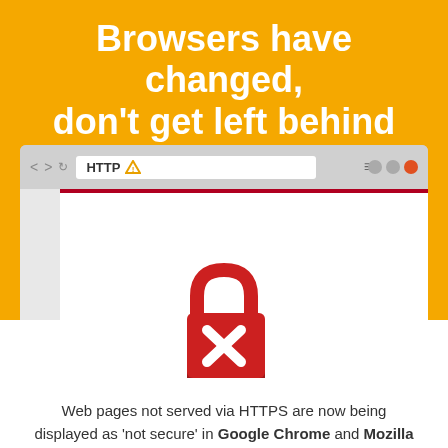Browsers have changed, don't get left behind
[Figure (illustration): Browser mockup showing HTTP with a warning triangle in the address bar, and a red lock icon with an X inside displayed on the page content area below]
Web pages not served via HTTPS are now being displayed as 'not secure' in Google Chrome and Mozilla